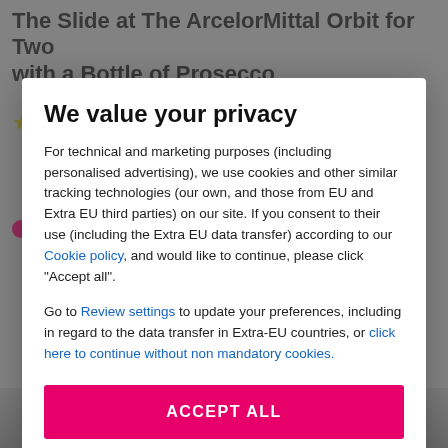The Slide at The ArcelorMittal Orbit for Two with a Bottle of Prosecco
[Figure (screenshot): Background page showing a product listing with star ratings and partially visible UI elements, overlaid by a privacy consent modal dialog.]
We value your privacy
For technical and marketing purposes (including personalised advertising), we use cookies and other similar tracking technologies (our own, and those from EU and Extra EU third parties) on our site. If you consent to their use (including the Extra EU data transfer) according to our Cookie policy, and would like to continue, please click "Accept all".
Go to Review settings to update your preferences, including in regard to the data transfer in Extra-EU countries, or click here to continue without non mandatory cookies.
ACCEPT ALL